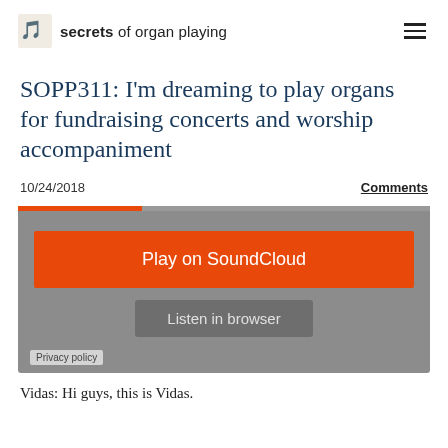secrets of organ playing
SOPP311: I'm dreaming to play organs for fundraising concerts and worship accompaniment
10/24/2018
Comments
[Figure (other): SoundCloud embedded audio player with orange Play on SoundCloud button and Listen in browser option]
Vidas: Hi guys, this is Vidas.